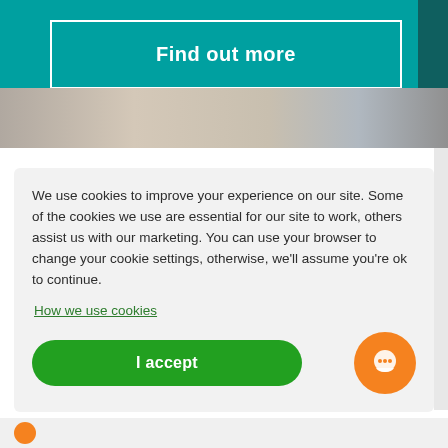[Figure (screenshot): Teal hero banner with 'Find out more' button outlined in white, and a photo strip of people at the bottom]
We use cookies to improve your experience on our site. Some of the cookies we use are essential for our site to work, others assist us with our marketing. You can use your browser to change your cookie settings, otherwise, we'll assume you're ok to continue.
How we use cookies
I accept